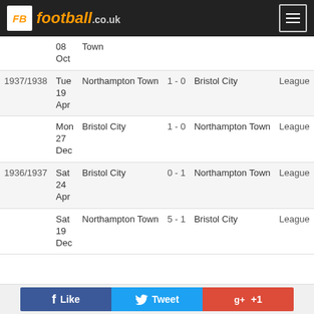FB football.co.uk
| Season | Date | Home | Score | Away | Competition |
| --- | --- | --- | --- | --- | --- |
|  | 08 Oct | Town |  |  |  |
| 1937/1938 | Tue 19 Apr | Northampton Town | 1 - 0 | Bristol City | League |
|  | Mon 27 Dec | Bristol City | 1 - 0 | Northampton Town | League |
| 1936/1937 | Sat 24 Apr | Bristol City | 0 - 1 | Northampton Town | League |
|  | Sat 19 Dec | Northampton Town | 5 - 1 | Bristol City | League |
Like  Tweet  +1